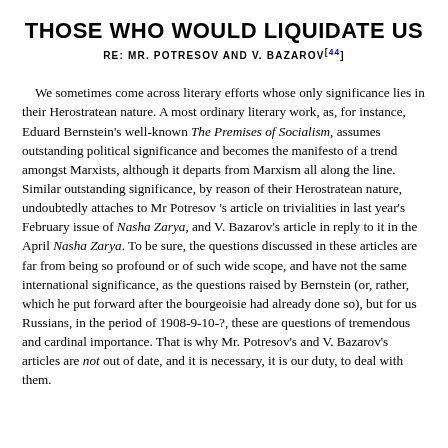THOSE WHO WOULD LIQUIDATE US
RE: MR. POTRESOV AND V. BAZAROV [44]
We sometimes come across literary efforts whose only significance lies in their Herostratean nature. A most ordinary literary work, as, for instance, Eduard Bernstein's well-known The Premises of Socialism, assumes outstanding political significance and becomes the manifesto of a trend amongst Marxists, although it departs from Marxism all along the line. Similar outstanding significance, by reason of their Herostratean nature, undoubtedly attaches to Mr Potresov 's article on trivialities in last year's February issue of Nasha Zarya, and V. Bazarov's article in reply to it in the April Nasha Zarya. To be sure, the questions discussed in these articles are far from being so profound or of such wide scope, and have not the same international significance, as the questions raised by Bernstein (or, rather, which he put forward after the bourgeoisie had already done so), but for us Russians, in the period of 1908-9-10-?, these are questions of tremendous and cardinal importance. That is why Mr. Potresov's and V. Bazarov's articles are not out of date, and it is necessary, it is our duty, to deal with them.